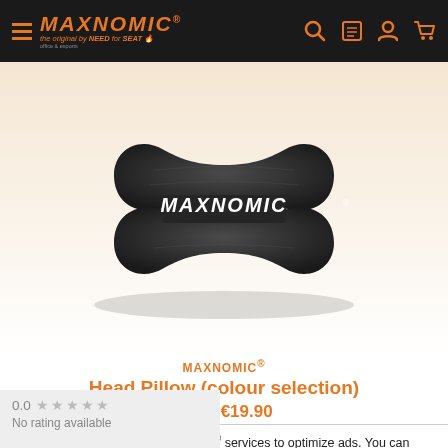MAXNOMIC® - the original by NEED for SEAT
[Figure (photo): Black MAXNOMIC branded neck/head pillow with butterfly bone shape, plush velvet material, white MAXNOMIC logo embroidered on front, shown against a warm beige-to-white gradient background.]
MAXNOMIC® Head Pillow (colour selection)
UVP: €19.90
This website wants to use Facebook® services to optimize ads. You can accept the use here. Learn more
0.0 ★★★★★
No rating available